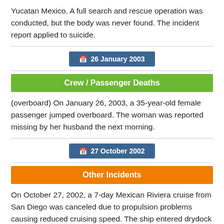Yucatan Mexico. A full search and rescue operation was conducted, but the body was never found. The incident report applied to suicide.
26 January 2003
Crew / Passenger Deaths
(overboard) On January 26, 2003, a 35-year-old female passenger jumped overboard. The woman was reported missing by her husband the next morning.
27 October 2002
Other Incidents
On October 27, 2002, a 7-day Mexican Riviera cruise from San Diego was canceled due to propulsion problems causing reduced cruising speed. The ship entered drydock for repairs in San Francisco CA.